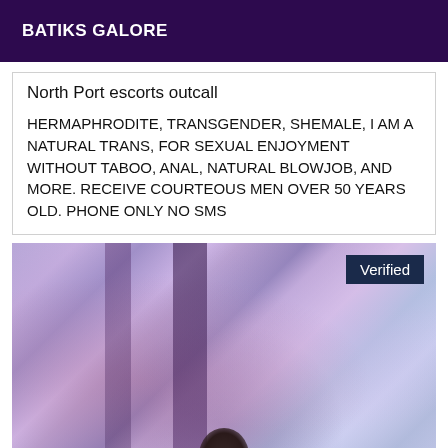BATIKS GALORE
North Port escorts outcall
HERMAPHRODITE, TRANSGENDER, SHEMALE, I AM A NATURAL TRANS, FOR SEXUAL ENJOYMENT WITHOUT TABOO, ANAL, NATURAL BLOWJOB, AND MORE. RECEIVE COURTEOUS MEN OVER 50 YEARS OLD. PHONE ONLY NO SMS
[Figure (photo): A blurred/abstract photo with purple and pink tones, partially showing a person. A 'Verified' badge is shown in the top right corner.]